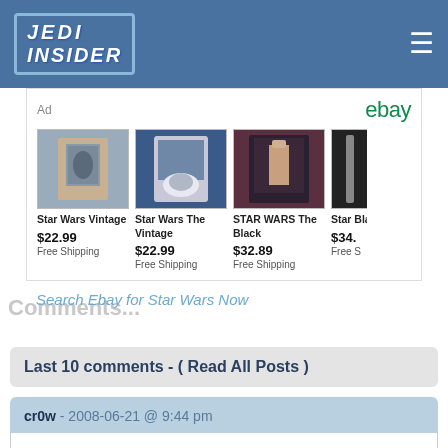[Figure (logo): Jedi Insider logo — white bold italic text on blue background with border]
[Figure (infographic): eBay advertisement banner with 4 Star Wars product listings and prices]
Search Ebay for Star Wars Now
Comments...
Last 10 comments - ( Read All Posts )
cr0w - 2008-06-21 @ 9:44 pm